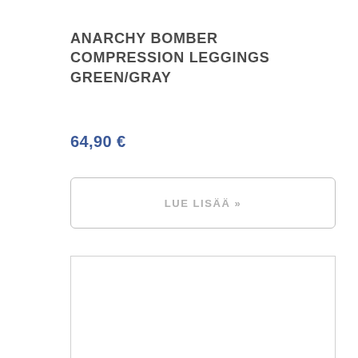ANARCHY BOMBER COMPRESSION LEGGINGS GREEN/GRAY
64,90 €
LUE LISÄÄ »
[Figure (other): Empty white image placeholder with light gray border]